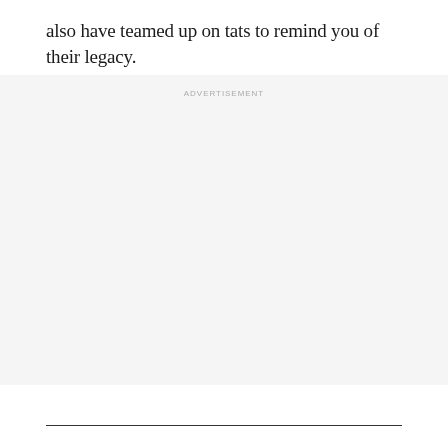also have teamed up on tats to remind you of their legacy.
[Figure (other): Advertisement placeholder block with light gray background and 'ADVERTISEMENT' label at top center]